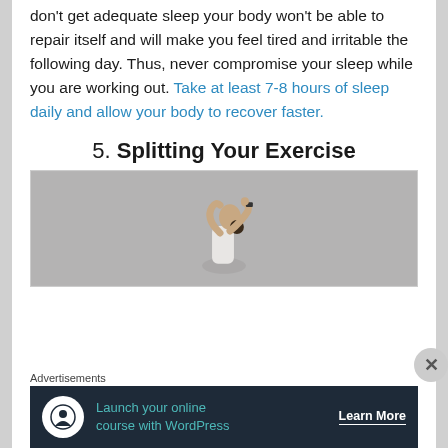don't get adequate sleep your body won't be able to repair itself and will make you feel tired and irritable the following day. Thus, never compromise your sleep while you are working out. Take at least 7-8 hours of sleep daily and allow your body to recover faster.
5. Splitting Your Exercise
[Figure (photo): A woman in a white tank top stretching with her arms raised, against a grey concrete wall background.]
Advertisements
[Figure (infographic): Advertisement banner: Launch your online course with WordPress — Learn More button. Dark navy background with teal text and a white tree/person logo icon.]